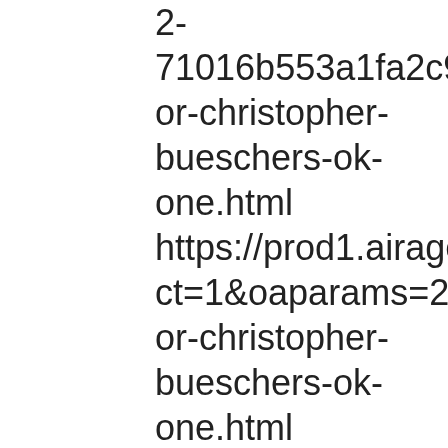2-71016b553a1fa2c9.3b14or-christopher-bueschers-ok-one.html https://prod1.airage.com ct=1&oaparams=2__bar or-christopher-bueschers-ok-one.html https://autoexplosion.c exchange/results.php?